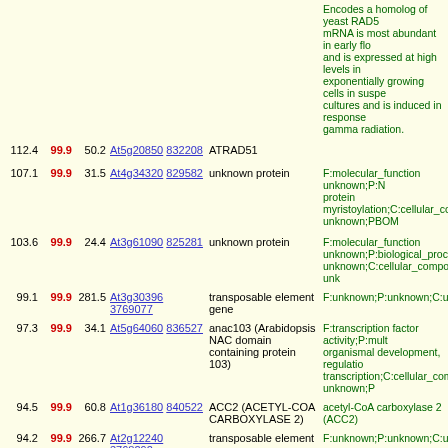| Score | Pct | Val | Links | Name | Description |
| --- | --- | --- | --- | --- | --- |
| 112.4 | 99.9 | 50.2 | At5g20850 832208 | ATRAD51 | Encodes a homolog of yeast RAD51... mRNA is most abundant in early flo... and is expressed at high levels in exponentially growing cells in suspe... cultures and is induced in response gamma radiation. |
| 107.1 | 99.9 | 31.5 | At4g34320 829582 | unknown protein | F:molecular_function unknown;P:N... protein myristoylation;C:cellular_co... unknown;PBOM |
| 103.6 | 99.9 | 24.4 | At3g61090 825281 | unknown protein | F:molecular_function unknown;P:biological_process unknown;C:cellular_component unk... |
| 99.1 | 99.9 | 281.5 | At3g30396 3769077 | transposable element gene | F:unknown;P:unknown;C:unknown |
| 97.3 | 99.9 | 34.1 | At5g64060 836527 | anac103 (Arabidopsis NAC domain containing protein 103) | F:transcription factor activity;P:mult... organismal development, regulatio... transcription;C:cellular_component unknown;P |
| 94.5 | 99.9 | 60.8 | At1g36180 840522 | ACC2 (ACETYL-COA CARBOXYLASE 2) | acetyl-CoA carboxylase 2 (ACC2) |
| 94.2 | 99.9 | 266.7 | At2g12240 3768292 | transposable element gene | F:unknown;P:unknown;C:unknown |
| 93.9 | 99.9 | 262.0 | At3g07800 819971 | thymidine kinase, putative | F:thymidine kinase activity, ATP binding;P:pyrimidine deoxyribonucl... interconversion, anaerobic respiration;C:cellular_component unknown;BOVMPAF |
| 93.6 | 99.9 | 264.3 | At2g10640 3767859 | transposable element gene | F:unknown;P:unknown;C:unknown |
| 91.6 | 99.9 | 73.1 | At4g22960 828395 | unknown protein | F:molecular_function unknown;P:biological_process unknown;C:cellular_component unknown;MFOPB |
| 89.9 | 99.9 | 240.1 | At2g12300 3768253 | transposable element gene | F:unknown;P:unknown;C:unknown |
|  |  |  |  |  | Encodes a chromomethylase invol... |